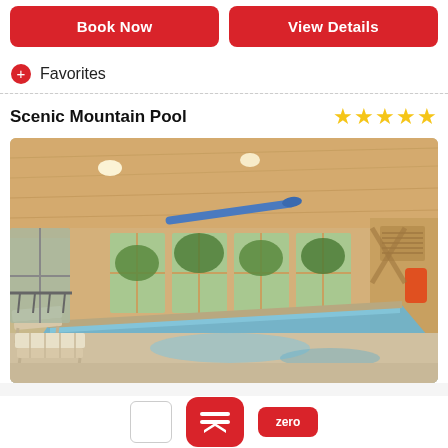Book Now
View Details
Favorites
Scenic Mountain Pool
[Figure (photo): Indoor swimming pool room with wood-paneled ceiling and walls, large windows overlooking trees, lounge chairs to the left, and a rectangular lap pool in the center.]
zero